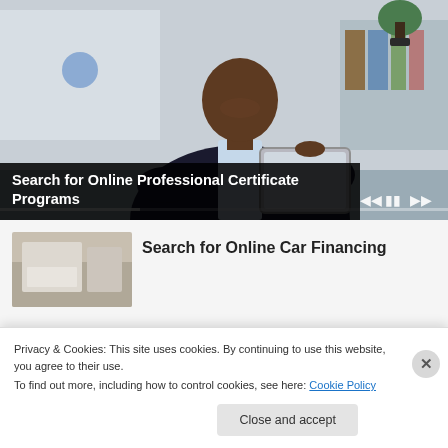[Figure (screenshot): Video thumbnail showing a professional man in a dark suit holding a tablet, smiling, with an office background. Video player controls visible at the bottom including a progress bar and playback controls.]
Search for Online Professional Certificate Programs
[Figure (photo): Small thumbnail image showing an interior space, likely related to car financing content.]
Search for Online Car Financing
Privacy & Cookies: This site uses cookies. By continuing to use this website, you agree to their use.
To find out more, including how to control cookies, see here: Cookie Policy
Close and accept